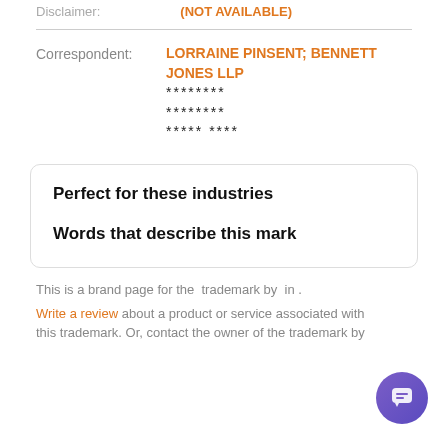Disclaimer: (NOT AVAILABLE)
| Field | Value |
| --- | --- |
| Correspondent: | LORRAINE PINSENT; BENNETT JONES LLP
********
********
***** **** |
Perfect for these industries
Words that describe this mark
This is a brand page for the  trademark by  in .
Write a review about a product or service associated with this trademark. Or, contact the owner of the trademark by